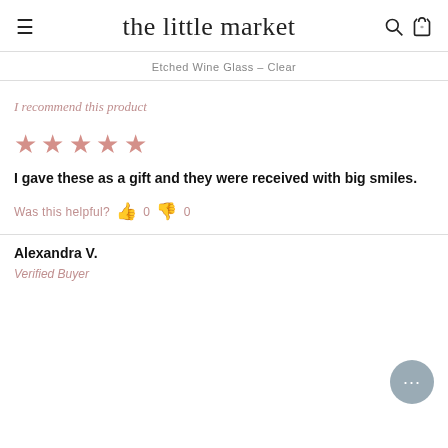≡  the little market  🔍 🛍
Etched Wine Glass – Clear
I recommend this product
[Figure (other): 5 pink/rose star rating icons]
I gave these as a gift and they were received with big smiles.
Was this helpful?  👍 0  👎 0
Alexandra V.
Verified Buyer